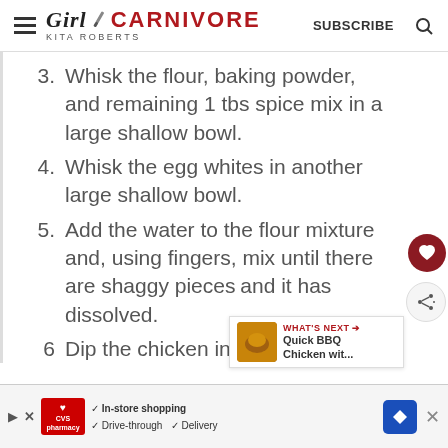Girl Carnivore - Kita Roberts | SUBSCRIBE
3. Whisk the flour, baking powder, and remaining 1 tbs spice mix in a large shallow bowl.
4. Whisk the egg whites in another large shallow bowl.
5. Add the water to the flour mixture and, using fingers, mix until there are shaggy pieces and it has dissolved.
6. Dip the chicken in the egg
[Figure (other): What's Next widget showing Quick BBQ Chicken preview thumbnail]
CVS ad: In-store shopping, Drive-through, Delivery